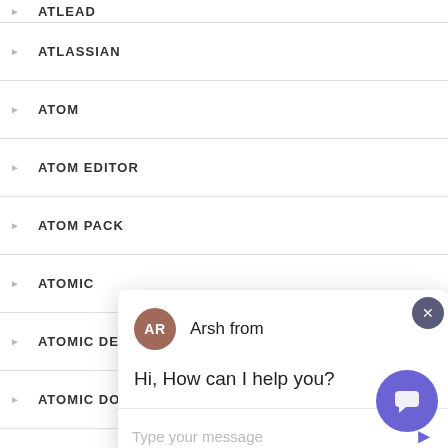ATLEAD
ATLASSIAN
ATOM
ATOM EDITOR
ATOM PACK
ATOMIC
ATOMIC DE
ATOMIC DOCS
ATOUM
ATSCRIPT
[Figure (screenshot): Chat widget popup with avatar 'AR' for 'Arsh from', message 'Hi, How can I help you?', text input area with placeholder 'Type your message', send button, close button (x), and purple chat FAB button.]